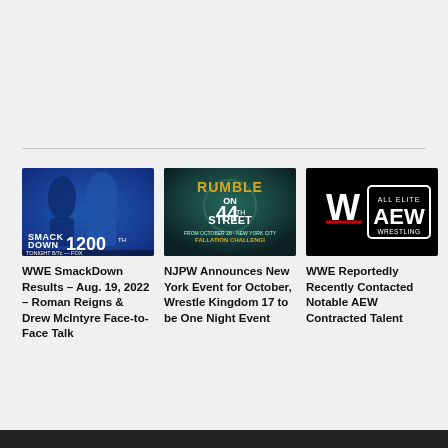[Figure (illustration): WWE SmackDown 1200 promotional image with two wrestlers on blue background, text: SMACK DOWN 1200, TONIGHT 8/7c - FOX]
WWE SmackDown Results – Aug. 19, 2022 – Roman Reigns & Drew McIntyre Face-to-Face Talk
[Figure (illustration): Rumble on 44th Street NJPW event promotional poster, dark teal background with gold text]
NJPW Announces New York Event for October, Wrestle Kingdom 17 to be One Night Event
[Figure (logo): WWE logo and AEW All Elite Wrestling logo side by side on black background]
WWE Reportedly Recently Contacted Notable AEW Contracted Talent